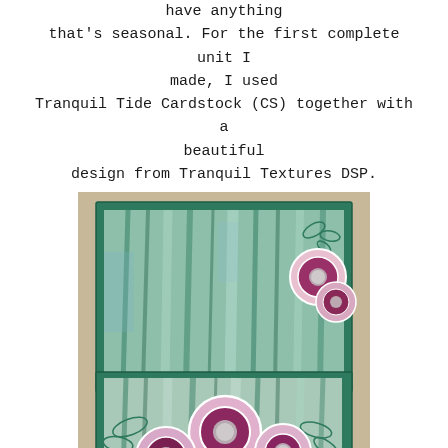have anything that's seasonal. For the first complete unit I made, I used Tranquil Tide Cardstock (CS) together with a beautiful design from Tranquil Textures DSP.
[Figure (photo): A handmade card set showing two layered cards decorated with a teal/green textured DSP background (Tranquil Textures) and purple/mauve flower embellishments with white outlines and glitter centers. The cards are displayed on a neutral beige/tan surface.]